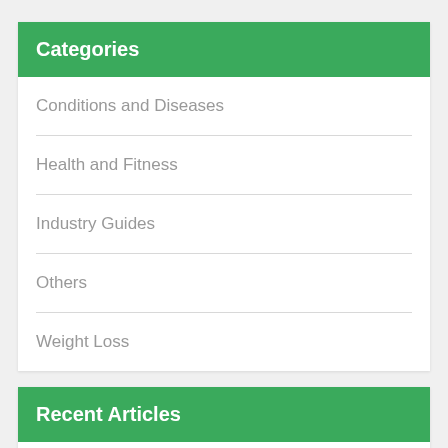Categories
Conditions and Diseases
Health and Fitness
Industry Guides
Others
Weight Loss
Recent Articles
How Bladder and Bowel Issues Can Impact Your Career
Helpful Tips To Stay Sober